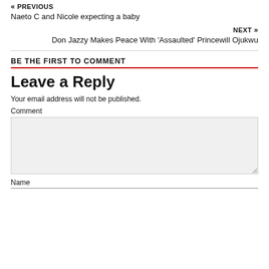« PREVIOUS
Naeto C and Nicole expecting a baby
NEXT »
Don Jazzy Makes Peace With ‘Assaulted’ Princewill Ojukwu
BE THE FIRST TO COMMENT
Leave a Reply
Your email address will not be published.
Comment
Name